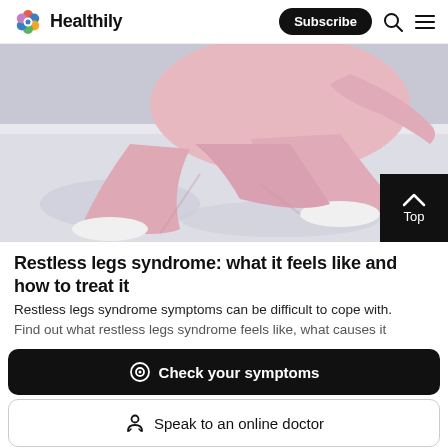Healthily — Subscribe
[Figure (photo): A person in pink pyjamas lying on a white bed, legs visible, suggesting restless legs syndrome.]
Restless legs syndrome: what it feels like and how to treat it
Restless legs syndrome symptoms can be difficult to cope with. Find out what restless legs syndrome feels like, what causes it
Check your symptoms
Speak to an online doctor